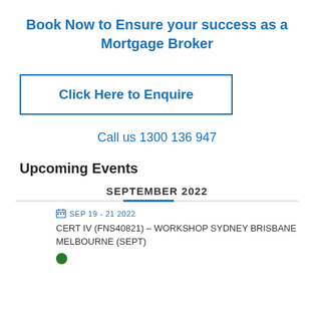Book Now to Ensure your success as a Mortgage Broker
Click Here to Enquire
Call us 1300 136 947
Upcoming Events
SEPTEMBER 2022
SEP 19 - 21 2022
CERT IV (FNS40821) – WORKSHOP SYDNEY BRISBANE MELBOURNE (SEPT)